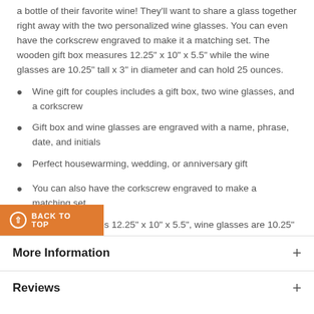a bottle of their favorite wine! They'll want to share a glass together right away with the two personalized wine glasses. You can even have the corkscrew engraved to make it a matching set. The wooden gift box measures 12.25" x 10" x 5.5" while the wine glasses are 10.25" tall x 3" in diameter and can hold 25 ounces.
Wine gift for couples includes a gift box, two wine glasses, and a corkscrew
Gift box and wine glasses are engraved with a name, phrase, date, and initials
Perfect housewarming, wedding, or anniversary gift
You can also have the corkscrew engraved to make a matching set
Gift box measures 12.25" x 10" x 5.5", wine glasses are 10.25" tall x 3" in diameter and can hold 25 oz.
BACK TO TOP
More Information
Reviews